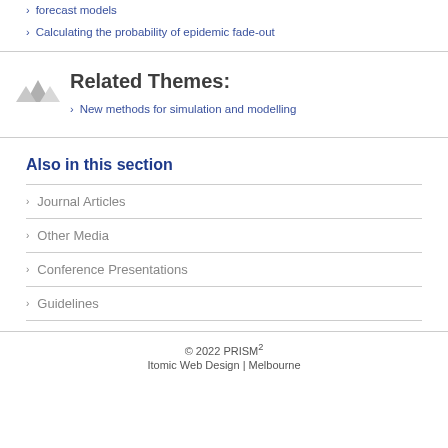forecast models
Calculating the probability of epidemic fade-out
Related Themes:
New methods for simulation and modelling
Also in this section
Journal Articles
Other Media
Conference Presentations
Guidelines
© 2022 PRISM² Itomic Web Design | Melbourne